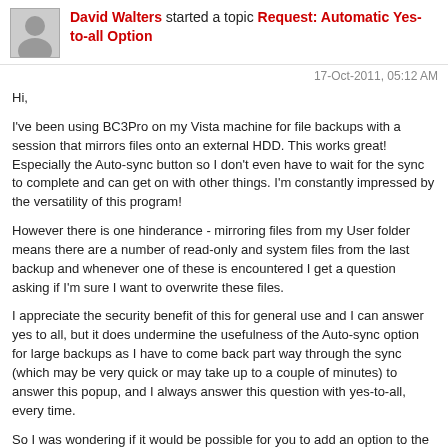David Walters started a topic Request: Automatic Yes-to-all Option
17-Oct-2011, 05:12 AM
Hi,
I've been using BC3Pro on my Vista machine for file backups with a session that mirrors files onto an external HDD. This works great! Especially the Auto-sync button so I don't even have to wait for the sync to complete and can get on with other things. I'm constantly impressed by the versatility of this program!
However there is one hinderance - mirroring files from my User folder means there are a number of read-only and system files from the last backup and whenever one of these is encountered I get a question asking if I'm sure I want to overwrite these files.
I appreciate the security benefit of this for general use and I can answer yes to all, but it does undermine the usefulness of the Auto-sync option for large backups as I have to come back part way through the sync (which may be very quick or may take up to a couple of minutes) to answer this popup, and I always answer this question with yes-to-all, every time.
So I was wondering if it would be possible for you to add an option to the session parameters (perhaps in the 'handling tab' ?) where you can enable an automatic 'yes-to-all' response for overwriting read-only and system files?
Thanks in advance,